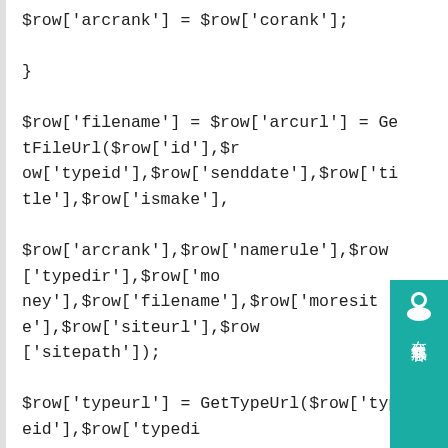$row['arcrank'] = $row['corank'];
}
$row['filename'] = $row['arcurl'] = GetFileUrl($row['id'],$row['typeid'],$row['senddate'],$row['title'],$row['ismake'],
$row['arcrank'],$row['namerule'],$row['typedir'],$row['money'],$row['filename'],$row['moresite'],$row['siteurl'],$row['sitepath']);
$row['typeurl'] = GetTypeUrl($row['typeid'],$row['typedir'],$row['isdefault'],$row['defaultname'],$row['ispart'],
$row['namerule2'],$row['moresite'],$row['siteurl'],$row['sitepath']);
if($row['litpic'] == '-' || $row['litpic'] == '')
{
$row['litpic'] = $GLOBALS['cfg_cmspath'].'/images/defaultpic.gif';
}